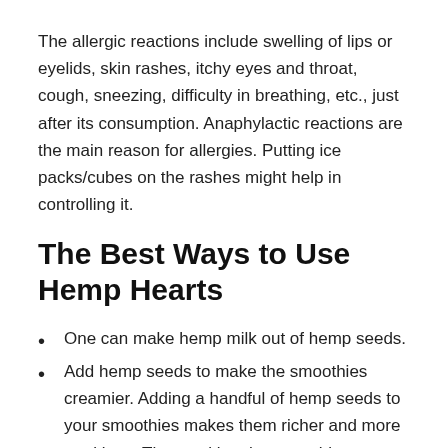The allergic reactions include swelling of lips or eyelids, skin rashes, itchy eyes and throat, cough, sneezing, difficulty in breathing, etc., just after its consumption. Anaphylactic reactions are the main reason for allergies. Putting ice packs/cubes on the rashes might help in controlling it.
The Best Ways to Use Hemp Hearts
One can make hemp milk out of hemp seeds.
Add hemp seeds to make the smoothies creamier. Adding a handful of hemp seeds to your smoothies makes them richer and more nutritious. Thus making the smoothies more satisfying and also adding a